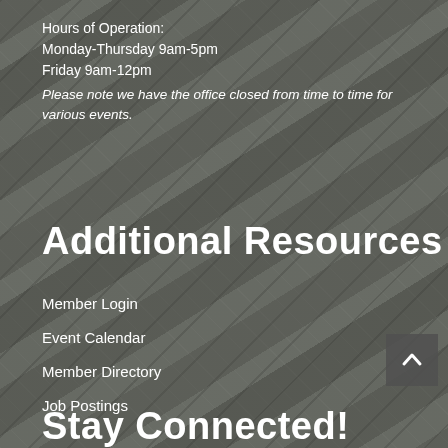Hours of Operation:
Monday-Thursday 9am-5pm
Friday 9am-12pm
Please note we have the office closed from time to time for various events.
Additional Resources
Member Login
Event Calendar
Member Directory
Job Postings
Stay Connected!